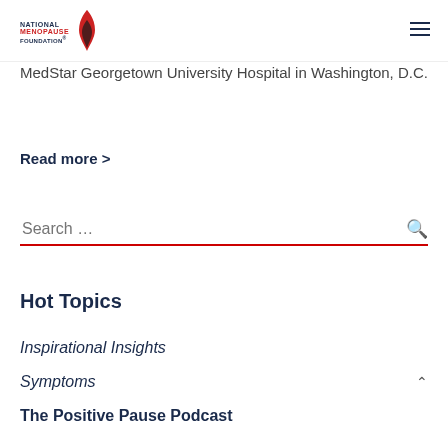National Menopause Foundation
MedStar Georgetown University Hospital in Washington, D.C.
Read more >
Search …
Hot Topics
Inspirational Insights
Symptoms
The Positive Pause Podcast